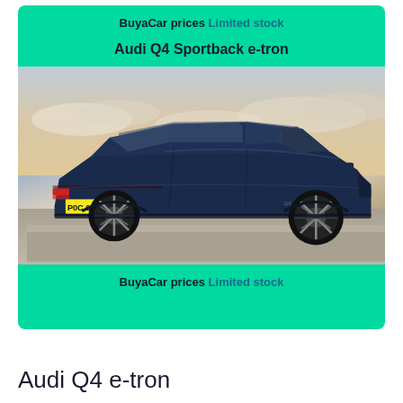BuyaCar prices Limited stock
Audi Q4 Sportback e-tron
[Figure (photo): Rear three-quarter view of a dark navy blue Audi Q4 Sportback e-tron parked on a tarmac surface with a dramatic cloudy sky in the background. UK registration plate reads PGC 044.]
BuyaCar prices Limited stock
Audi Q4 e-tron